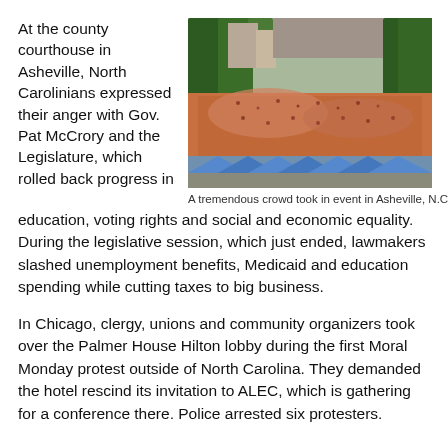At the county courthouse in Asheville, North Carolinians expressed their anger with Gov. Pat McCrory and the Legislature, which rolled back progress in
[Figure (photo): Aerial view of a large crowd gathered at an event in Asheville, N.C., surrounded by trees and buildings.]
A tremendous crowd took in event in Asheville, N.C.
education, voting rights and social and economic equality. During the legislative session, which just ended, lawmakers slashed unemployment benefits, Medicaid and education spending while cutting taxes to big business.
In Chicago, clergy, unions and community organizers took over the Palmer House Hilton lobby during the first Moral Monday protest outside of North Carolina. They demanded the hotel rescind its invitation to ALEC, which is gathering for a conference there. Police arrested six protesters.